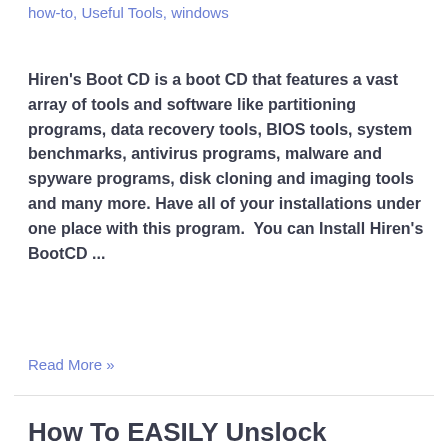how-to, Useful Tools, windows
Hiren's Boot CD is a boot CD that features a vast array of tools and software like partitioning programs, data recovery tools, BIOS tools, system benchmarks, antivirus programs, malware and spyware programs, disk cloning and imaging tools and many more. Have all of your installations under one place with this program.  You can Install Hiren's BootCD ...
Read More »
How To EASILY Unslock